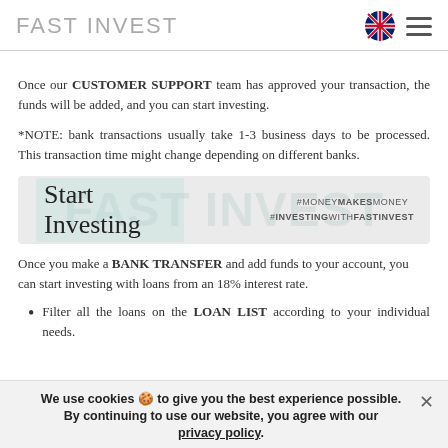FAST INVEST
Once our CUSTOMER SUPPORT team has approved your transaction, the funds will be added, and you can start investing.
*NOTE: bank transactions usually take 1-3 business days to be processed. This transaction time might change depending on different banks.
[Figure (illustration): Promotional banner with cursive 'Start Investing' text and hashtags #MONEYMAKESMONEY #INVESTINGWITHFASTINVEST on a light background with large faded text]
Once you make a BANK TRANSFER and add funds to your account, you can start investing with loans from an 18% interest rate.
Filter all the loans on the LOAN LIST according to your individual needs.
We use cookies 🍪 to give you the best experience possible. ✕ By continuing to use our website, you agree with our privacy policy.